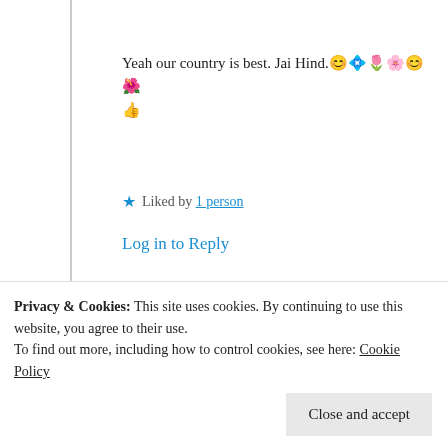Yeah our country is best. Jai Hind. 😊🔸🌷🌺😊🌸 👍
★ Liked by 1 person
Log in to Reply
Suma Reddy
16th Aug 2021 at 9:49 am
Privacy & Cookies: This site uses cookies. By continuing to use this website, you agree to their use.
To find out more, including how to control cookies, see here: Cookie Policy
Close and accept